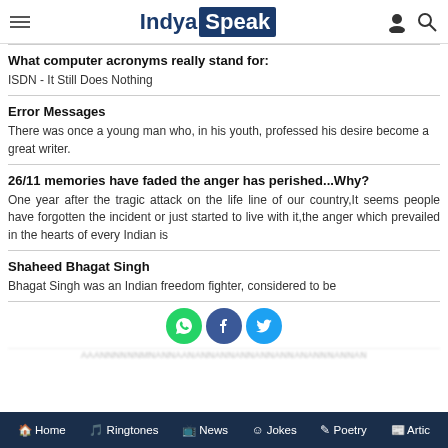IndyaSpeak
What computer acronyms really stand for:
ISDN - It Still Does Nothing
Error Messages
There was once a young man who, in his youth, professed his desire become a great writer.
26/11 memories have faded the anger has perished...Why?
One year after the tragic attack on the life line of our country,It seems people have forgotten the incident or just started to live with it,the anger which prevailed in the hearts of every Indian is
Shaheed Bhagat Singh
Bhagat Singh was an Indian freedom fighter, considered to be
Home  Ringtones  News  Jokes  Poetry  Artic